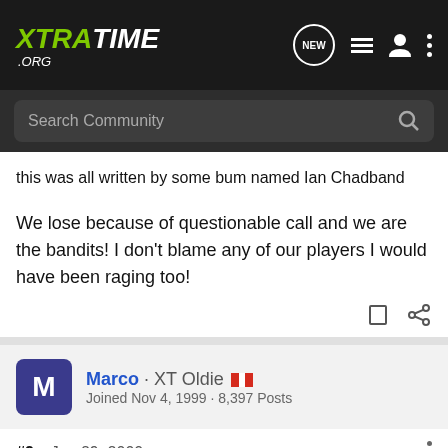XTRATIME.ORG
this was all written by some bum named Ian Chadband
We lose because of questionable call and we are the bandits! I don't blame any of our players I would have been raging too!
Marco · XT Oldie 🇨🇦
Joined Nov 4, 1999 · 8,397 Posts
#2 · Jun 29, 2000
Who cares...we are in deep shi_t.